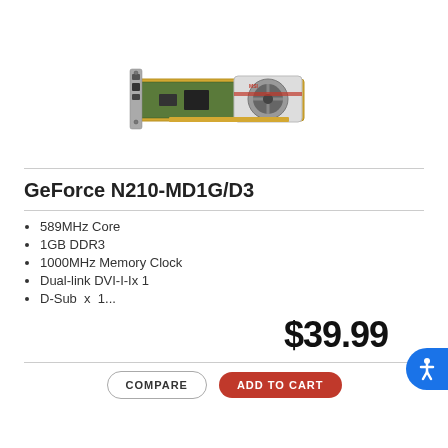[Figure (photo): MSI GeForce N210-MD1G/D3 graphics card, low-profile PCIe card with silver heatsink and fan, viewed from above at an angle]
GeForce N210-MD1G/D3
589MHz Core
1GB DDR3
1000MHz Memory Clock
Dual-link DVI-I-Ix 1
D-Sub  x  1...
$39.99